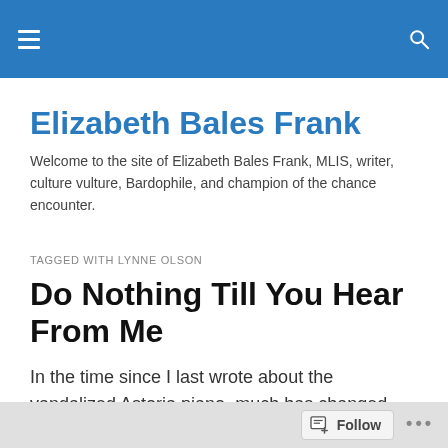Elizabeth Bales Frank — site navigation header with hamburger menu and search icon
Elizabeth Bales Frank
Welcome to the site of Elizabeth Bales Frank, MLIS, writer, culture vulture, Bardophile, and champion of the chance encounter.
TAGGED WITH LYNNE OLSON
Do Nothing Till You Hear From Me
In the time since I last wrote about the vandalized Astoria piano, much has changed.
Follow